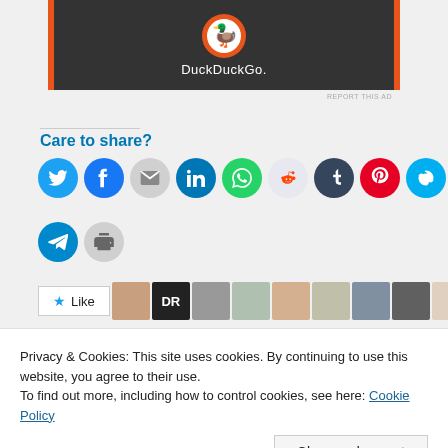[Figure (screenshot): DuckDuckGo advertisement banner with duck logo and text on dark background with orange borders]
REPORT THIS AD
Care to share?
[Figure (infographic): Row of social sharing icon buttons: Twitter, Facebook, Email, LinkedIn, WhatsApp, Reddit, Tumblr, Pinterest, Skype, Pocket, Telegram, Print]
[Figure (screenshot): Like button and row of user avatar profile photos]
Privacy & Cookies: This site uses cookies. By continuing to use this website, you agree to their use.
To find out more, including how to control cookies, see here: Cookie Policy
Close and accept